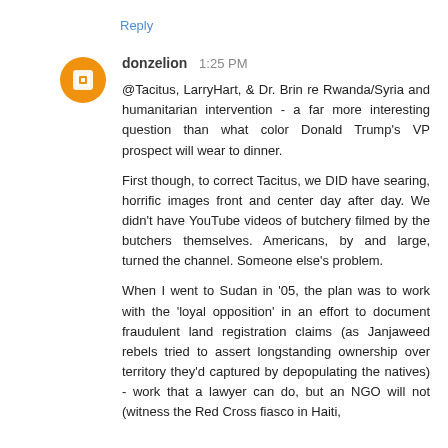Reply
donzelion  1:25 PM
@Tacitus, LarryHart, & Dr. Brin re Rwanda/Syria and humanitarian intervention - a far more interesting question than what color Donald Trump's VP prospect will wear to dinner.

First though, to correct Tacitus, we DID have searing, horrific images front and center day after day. We didn't have YouTube videos of butchery filmed by the butchers themselves. Americans, by and large, turned the channel. Someone else's problem.

When I went to Sudan in '05, the plan was to work with the 'loyal opposition' in an effort to document fraudulent land registration claims (as Janjaweed rebels tried to assert longstanding ownership over territory they'd captured by depopulating the natives) - work that a lawyer can do, but an NGO will not (witness the Red Cross fiasco in Haiti,